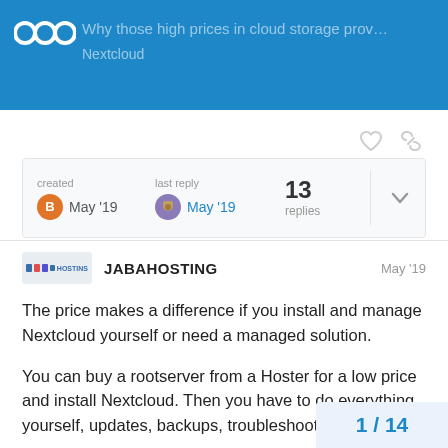Why those high prices in cloud storage prov... Nextcloud
created May '19  last reply May '19  13 replies
JABAHOSTING  May '19
The price makes a difference if you install and manage Nextcloud yourself or need a managed solution.
You can buy a rootserver from a Hoster for a low price and install Nextcloud. Then you have to do everything yourself, updates, backups, troubleshooting ...
The cheapest hoster is Hetzner, but have no backup, no Collabora office and no own domain. But incredible!
1 / 14